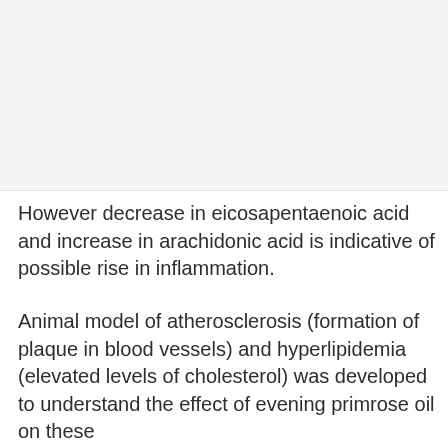[Figure (other): Image or figure placeholder occupying the top portion of the page]
However decrease in eicosapentaenoic acid and increase in arachidonic acid is indicative of possible rise in inflammation.
Animal model of atherosclerosis (formation of plaque in blood vessels) and hyperlipidemia (elevated levels of cholesterol) was developed to understand the effect of evening primrose oil on these